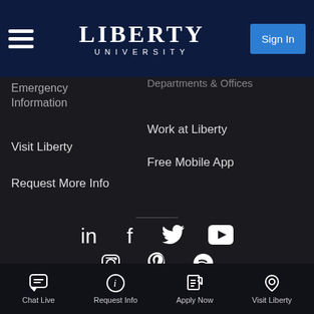Liberty University
Emergency Information
Departments & Offices
Work at Liberty
Visit Liberty
Free Mobile App
Request More Info
[Figure (infographic): Social media icons: LinkedIn, Facebook, Twitter, YouTube, Instagram, Pinterest, Spotify]
Liberty Local Time: 9:22 p.m. ET
Chat Live | Request Info | Apply Now | Visit Liberty